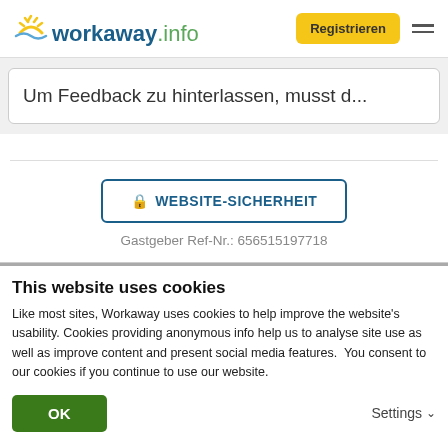[Figure (logo): Workaway.info logo with sun icon]
Um Feedback zu hinterlassen, musst d...
[Figure (other): Website security button with lock icon: WEBSITE-SICHERHEIT]
Gastgeber Ref-Nr.: 656515197718
This website uses cookies
Like most sites, Workaway uses cookies to help improve the website's usability. Cookies providing anonymous info help us to analyse site use as well as improve content and present social media features.  You consent to our cookies if you continue to use our website.
OK
Settings